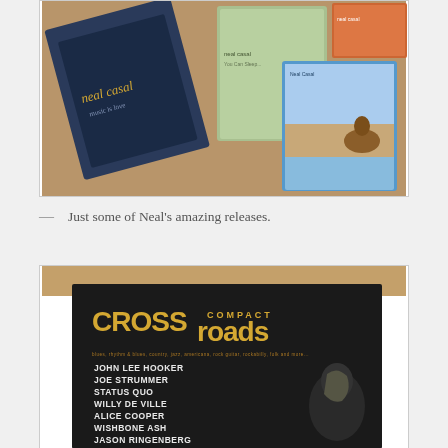[Figure (photo): Photo of several Neal Casal CDs arranged on a wooden surface, showing album covers including 'neal casal' text visible.]
— Just some of Neal's amazing releases.
[Figure (photo): Photo of a 'CROSSroads Compact' magazine/publication with black cover listing artists: JOHN LEE HOOKER, JOE STRUMMER, STATUS QUO, WILLY DE VILLE, ALICE COOPER, WISHBONE ASH, JASON RINGENBERG]